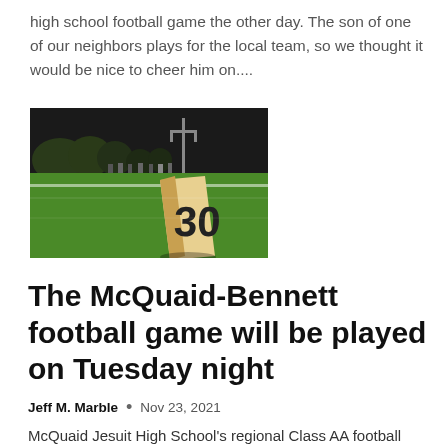high school football game the other day. The son of one of our neighbors plays for the local team, so we thought it would be nice to cheer him on....
[Figure (photo): A football field with the 30-yard line marker in the foreground on green grass, with goalpost and players visible in the dark background.]
The McQuaid-Bennett football game will be played on Tuesday night
Jeff M. Marble  •  Nov 23, 2021
McQuaid Jesuit High School's regional Class AA football game against Bennett High School in Buffalo will now be played Tuesday